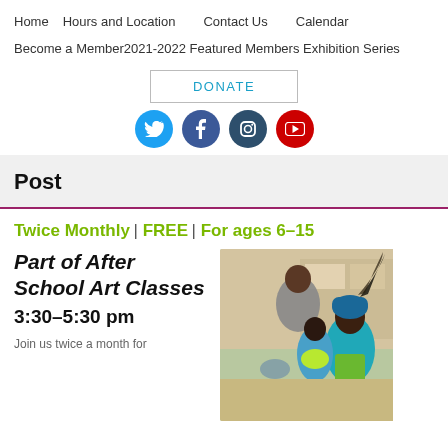Home   Hours and Location   Contact Us   Calendar   Become a Member   2021-2022 Featured Members Exhibition Series
DONATE
[Figure (infographic): Social media icons: Twitter (blue circle), Facebook (dark blue circle), Instagram (teal circle), YouTube (red circle)]
Post
Twice Monthly | FREE | For ages 6–15
Part of After School Art Classes
3:30–5:30 pm
[Figure (photo): Children in colorful costumes and headwear at an after school art class]
Join us twice a month for